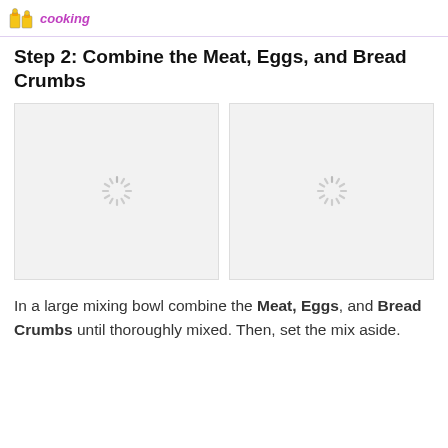cooking
Step 2: Combine the Meat, Eggs, and Bread Crumbs
[Figure (photo): Loading placeholder image (spinning loader icon) on left — image not yet loaded]
[Figure (photo): Loading placeholder image (spinning loader icon) on right — image not yet loaded]
In a large mixing bowl combine the Meat, Eggs, and Bread Crumbs until thoroughly mixed. Then, set the mix aside.